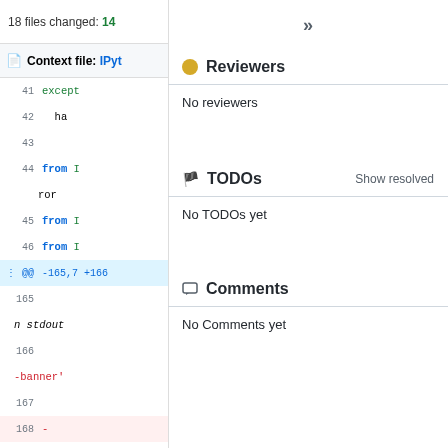18 files changed: 14
Context file: IPyt
41  except
42  ha
43
44  from I ror
45  from I
46  from I
@@ -165,7 +166
165
n stdout
166
-banner'
167
168  -
Reviewers
No reviewers
TODOs
Show resolved
No TODOs yet
Comments
No Comments yet